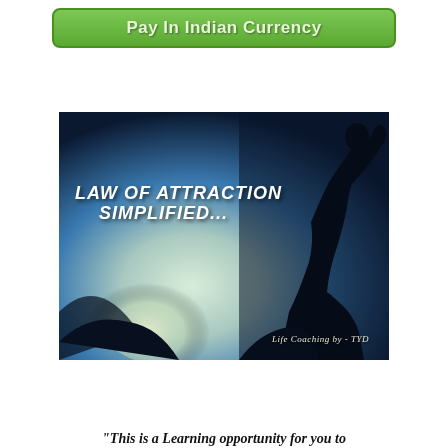Pay In Indian Currency
[Figure (illustration): Book or course cover image with dark silhouette of a person climbing against a blue and teal sky background. Text reads 'LAW OF ATTRACTION SIMPLIFIED...' and 'Life Coaching by - TYD' in the lower right corner.]
"This is a Learning opportunity for you to